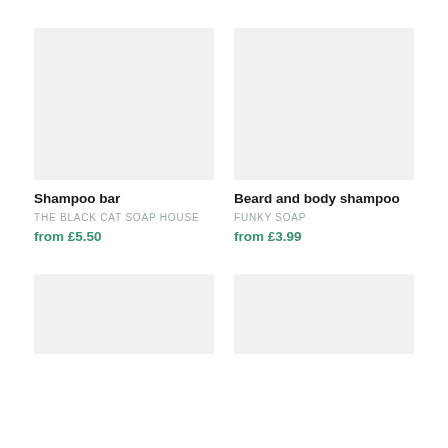[Figure (photo): Product image placeholder for Shampoo bar — light grey square]
Shampoo bar
THE BLACK CAT SOAP HOUSE
from £5.50
[Figure (photo): Product image placeholder for Beard and body shampoo — light grey square]
Beard and body shampoo
FUNKY SOAP
from £3.99
[Figure (photo): Product image placeholder — light grey square, partially visible]
[Figure (photo): Product image placeholder — light grey square, partially visible]